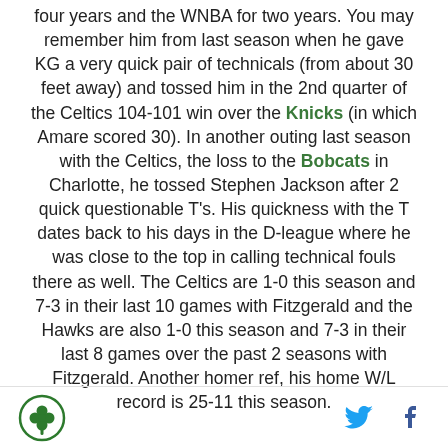four years and the WNBA for two years. You may remember him from last season when he gave KG a very quick pair of technicals (from about 30 feet away) and tossed him in the 2nd quarter of the Celtics 104-101 win over the Knicks (in which Amare scored 30). In another outing last season with the Celtics, the loss to the Bobcats in Charlotte, he tossed Stephen Jackson after 2 quick questionable T's. His quickness with the T dates back to his days in the D-league where he was close to the top in calling technical fouls there as well. The Celtics are 1-0 this season and 7-3 in their last 10 games with Fitzgerald and the Hawks are also 1-0 this season and 7-3 in their last 8 games over the past 2 seasons with Fitzgerald. Another homer ref, his home W/L record is 25-11 this season.